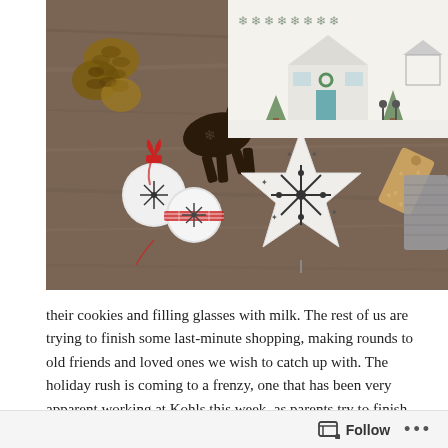[Figure (photo): Photo of Christmas ornaments and decorations on a wooden table: pine cones, a dark wooden reindeer ornament, two white bell ornaments with snowflake designs and red ribbon, a white ceramic star ornament with snowflake pattern, a tan/brown gift tag, a gray knitted/woven item, and in the top right a Christmas card illustration showing a white house in winter with trees and a gazebo.]
their cookies and filling glasses with milk. The rest of us are trying to finish some last-minute shopping, making rounds to old friends and loved ones we wish to catch up with. The holiday rush is coming to a frenzy, one that has been very apparent working at Kohls this week, as parents try to finish fulfilling the Christmas lists of their kids and others hope to seek the best sales around town.
Follow ...